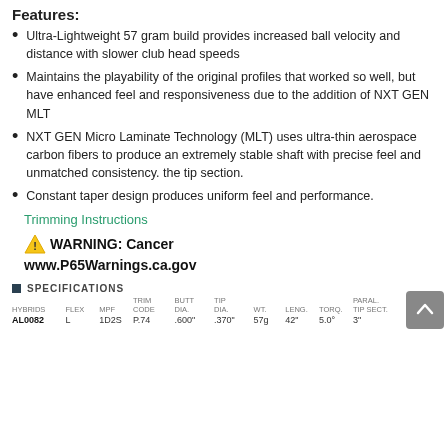Features:
Ultra-Lightweight 57 gram build provides increased ball velocity and distance with slower club head speeds
Maintains the playability of the original profiles that worked so well, but have enhanced feel and responsiveness due to the addition of NXT GEN MLT
NXT GEN Micro Laminate Technology (MLT) uses ultra-thin aerospace carbon fibers to produce an extremely stable shaft with precise feel and unmatched consistency. the tip section.
Constant taper design produces uniform feel and performance.
Trimming Instructions
WARNING: Cancer www.P65Warnings.ca.gov
| HYBRIDS | FLEX | MPF | TRIM CODE | BUTT DIA. | TIP DIA. | WT. | LENG. | TORQ. | PARAL. TIP SECT. | TRAJ. |
| --- | --- | --- | --- | --- | --- | --- | --- | --- | --- | --- |
| AL0082 | L | 1D2S | P.74 | .600" | .370" | 57g | 42" | 5.0° | 3" | HIGH |